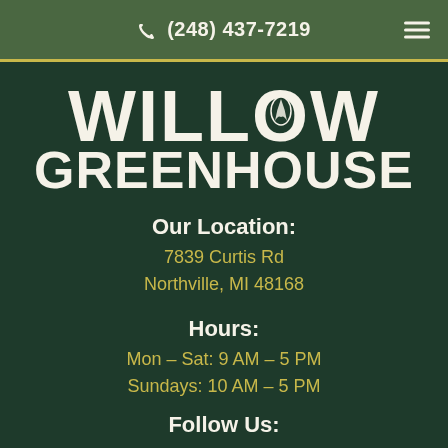📞 (248) 437-7219
WILLOW GREENHOUSE
Our Location:
7839 Curtis Rd
Northville, MI 48168
Hours:
Mon - Sat: 9 AM - 5 PM
Sundays: 10 AM - 5 PM
Follow Us: